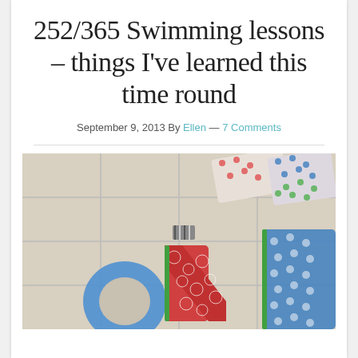252/365 Swimming lessons – things I've learned this time round
September 9, 2013 By Ellen — 7 Comments
[Figure (photo): Decorative wooden letters covered in patterned fabric/paper (cartoon faces print and polka dot print) arranged on white tile floor, spelling out partial text]